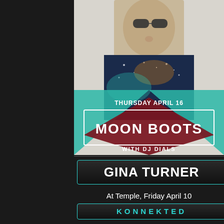[Figure (photo): Event flyer for Moon Boots at Audio SF. Shows a man wearing sunglasses and a galaxy-print t-shirt. Geometric teal and dark red shapes overlay the lower half. Text reads THURSDAY APRIL 16, MOON BOOTS, WITH DJ DIALS. Bottom shows Audio logo, address 316 11th St, SF, CA, www.audiosf.com, reservations@audiosf.com]
GINA TURNER
At Temple, Friday April 10
KONNEKTED